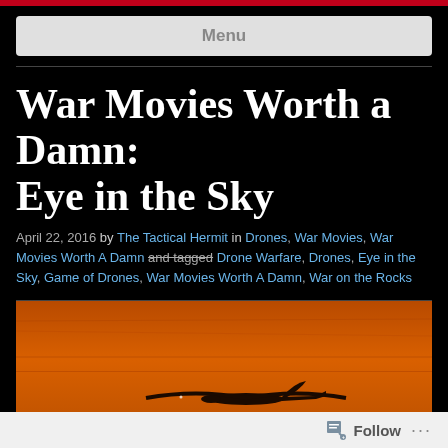Menu
War Movies Worth a Damn: Eye in the Sky
April 22, 2016 by The Tactical Hermit in Drones, War Movies, War Movies Worth A Damn and tagged Drone Warfare, Drones, Eye in the Sky, Game of Drones, War Movies Worth A Damn, War on the Rocks
[Figure (photo): A silhouette of a drone (UAV) flying against an orange/amber sunset sky, viewed from a low angle. The image has a warm orange tone with the drone silhouette dark against the sky.]
Follow ...